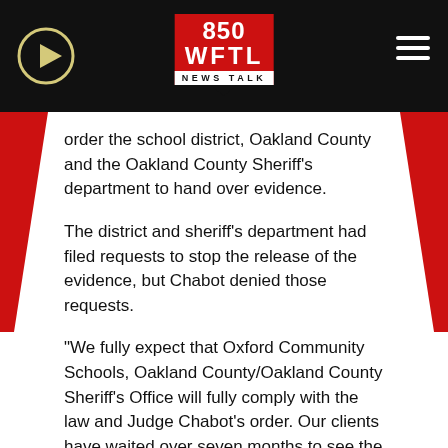[Figure (logo): 850 WFTL News Talk radio logo in red and white, centered in black header bar with play button on left and hamburger menu on right]
order the school district, Oakland County and the Oakland County Sheriff's department to hand over evidence.
The district and sheriff's department had filed requests to stop the release of the evidence, but Chabot denied those requests.
“We fully expect that Oxford Community Schools, Oakland County/Oakland County Sheriff’s Office will fully comply with the law and Judge Chabot’s order. Our clients have waited over seven months to see the full and complete investigation with their own eyes; that’s long enough,” Ven Johnson an attorney for the victims families said in a statement to ABC News.
Sheriff Michael Bouchard also have to say that the...